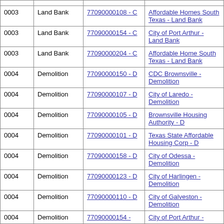| 0003 | Land Bank | 77090000108 - C | Affordable Homes South Texas - Land Bank |
| 0003 | Land Bank | 77090000154 - C | City of Port Arthur - Land Bank |
| 0003 | Land Bank | 77090000204 - C | Affordable Home South Texas - Land Bank |
| 0004 | Demolition | 77090000150 - D | CDC Brownsville - Demolition |
| 0004 | Demolition | 77090000107 - D | City of Laredo - Demolition |
| 0004 | Demolition | 77090000105 - D | Brownsville Housing Authority - D |
| 0004 | Demolition | 77090000101 - D | Texas State Affordable Housing Corp - D |
| 0004 | Demolition | 77090000158 - D | City of Odessa - Demolition |
| 0004 | Demolition | 77090000123 - D | City of Harlingen - Demolition |
| 0004 | Demolition | 77090000110 - D | City of Galveston - Demolition |
| 0004 | Demolition | 77090000154 - | City of Port Arthur - |